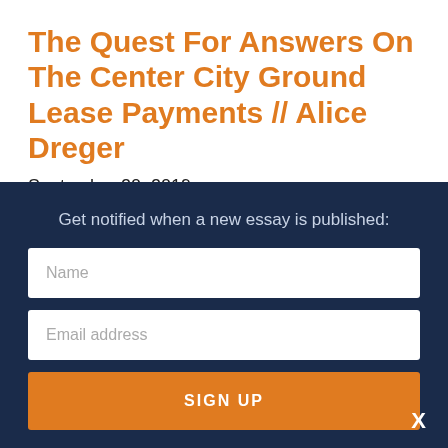The Quest For Answers On The Center City Ground Lease Payments // Alice Dreger
September 20, 2019
East Lansing’s City Council voted on Tuesday night to clarify the Center City District ground lease deal so the City can finally start getting paid for use of
Get notified when a new essay is published:
Name
Email address
SIGN UP
X